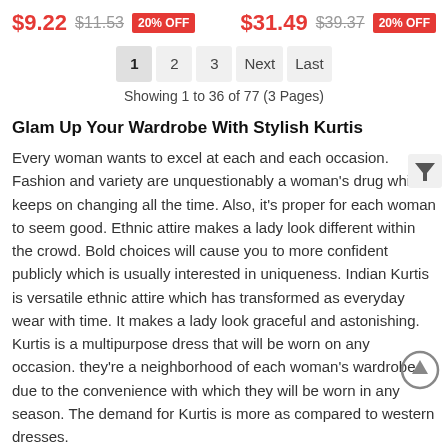$9.22  $11.53  20% OFF    $31.49  $39.37  20% OFF
1  2  3  Next  Last
Showing 1 to 36 of 77 (3 Pages)
Glam Up Your Wardrobe With Stylish Kurtis
Every woman wants to excel at each and each occasion. Fashion and variety are unquestionably a woman's drug which keeps on changing all the time. Also, it's proper for each woman to seem good. Ethnic attire makes a lady look different within the crowd. Bold choices will cause you to more confident publicly which is usually interested in uniqueness. Indian Kurtis is versatile ethnic attire which has transformed as everyday wear with time. It makes a lady look graceful and astonishing. Kurtis is a multipurpose dress that will be worn on any occasion. they're a neighborhood of each woman's wardrobe due to the convenience with which they will be worn in any season. The demand for Kurtis is more as compared to western dresses.
Cotton Kurtis are an all-time favorite for the summer season for all age groups of girls. Plains, prints, self-embroidery and lots of more patterns are there in cotton Kurtis. they're available in several styles in